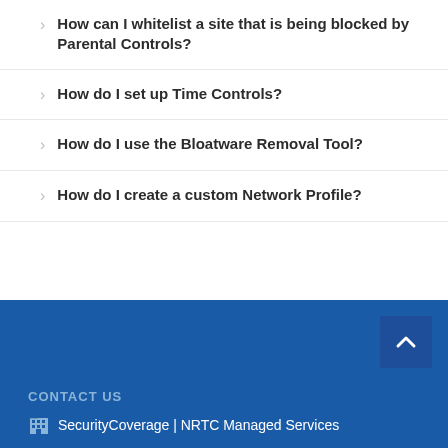How can I whitelist a site that is being blocked by Parental Controls?
How do I set up Time Controls?
How do I use the Bloatware Removal Tool?
How do I create a custom Network Profile?
CONTACT US
SecurityCoverage | NRTC Managed Services